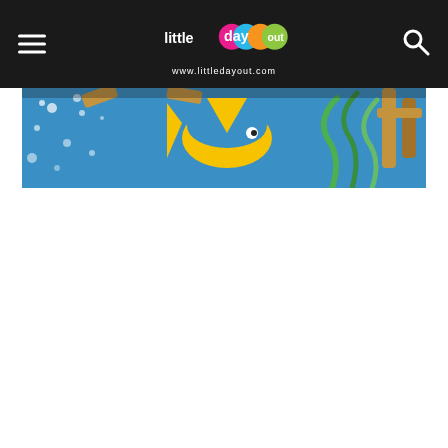little day out — www.littledayout.com
[Figure (photo): Colorful underwater-themed mural or playground artwork showing a yellow and blue fish with green seaweed, wooden beam structures, and blue water with bubbles in the background.]